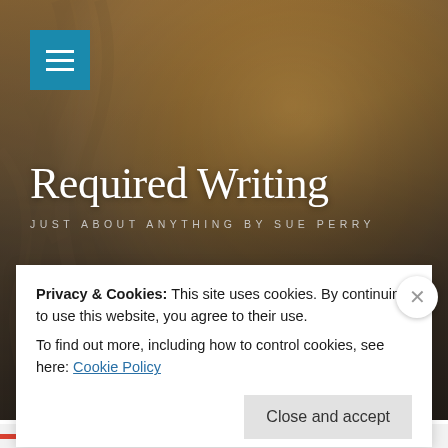[Figure (photo): Close-up photo of cat fur in warm golden-brown and tan tones, serving as the website hero background image]
Required Writing
JUST ABOUT ANYTHING BY SUE PERRY
Privacy & Cookies: This site uses cookies. By continuing to use this website, you agree to their use.
To find out more, including how to control cookies, see here: Cookie Policy
Close and accept